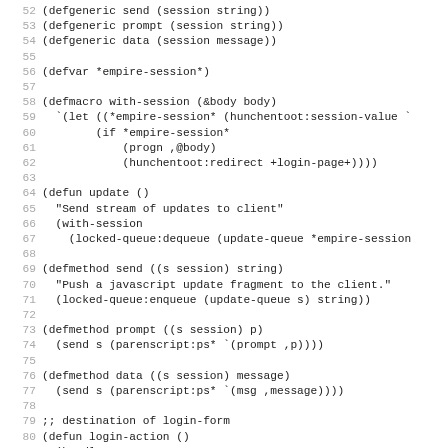[Figure (other): Source code listing in Common Lisp, lines 52-83, showing defgeneric, defvar, defmacro, defun, and defmethod forms for a session-based web application with locked-queue operations and login handling.]